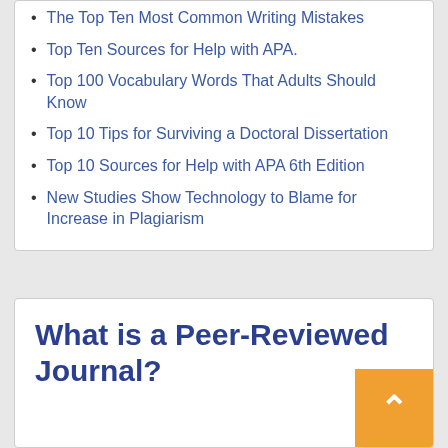The Top Ten Most Common Writing Mistakes
Top Ten Sources for Help with APA.
Top 100 Vocabulary Words That Adults Should Know
Top 10 Tips for Surviving a Doctoral Dissertation
Top 10 Sources for Help with APA 6th Edition
New Studies Show Technology to Blame for Increase in Plagiarism
What is a Peer-Reviewed Journal?